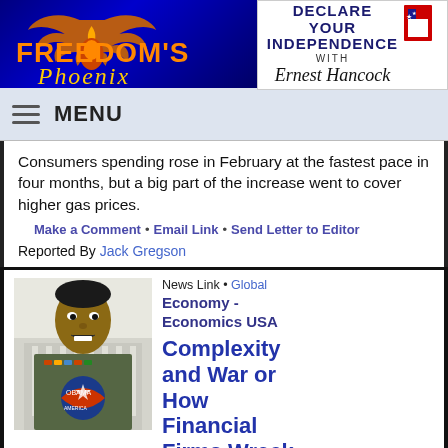[Figure (logo): Freedom's Phoenix logo with golden phoenix bird on dark blue background with orange/gold text]
[Figure (logo): Declare Your Independence with Ernest Hancock logo in black and white]
MENU
Consumers spending rose in February at the fastest pace in four months, but a big part of the increase went to cover higher gas prices.
Make a Comment • Email Link • Send Letter to Editor
Reported By Jack Gregson
[Figure (photo): Photo of a person in military uniform at a podium with Obama logo]
News Link • Global
Economy - Economics USA
Complexity and War or How Financial Firms Wreck Economies for Fun and